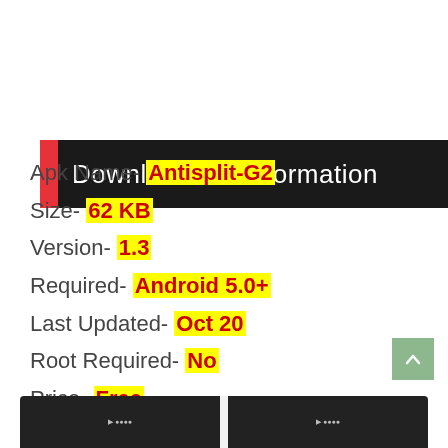Download file Information
Apk Name- Antisplit-G2
Size- 62 KB
Version- 1.3
Required- Android 5.0+
Last Updated- Oct 20
Root Required- No
Price- Free